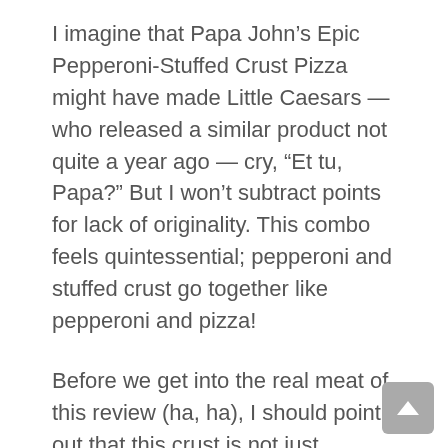I imagine that Papa John's Epic Pepperoni-Stuffed Crust Pizza might have made Little Caesars — who released a similar product not quite a year ago — cry, "Et tu, Papa?" But I won't subtract points for lack of originality. This combo feels quintessential; pepperoni and stuffed crust go together like pepperoni and pizza!
Before we get into the real meat of this review (ha, ha), I should point out that this crust is not just stuffed, but per Papa John's website, also "seasoned." This was a relief to read, as at first glance, the generous smattering of unexpected black flecks had me sort of concerned. The seasoning was zesty — hard to pinpoint one taste exactly, but it was simultaneously garlicky,